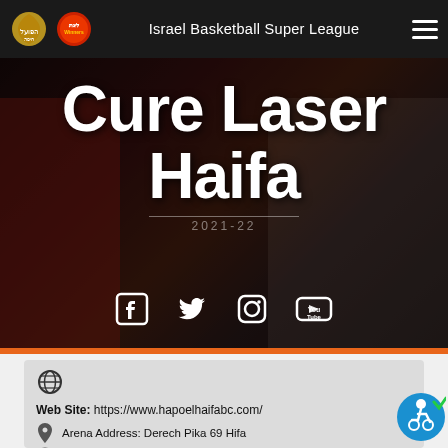Israel Basketball Super League
Cure Laser Haifa
2021-22
[Figure (infographic): Social media icons: Facebook, Twitter, Instagram, YouTube]
[Figure (infographic): Globe icon for website]
Web Site: https://www.hapoelhaifabc.com/
Arena Address: Derech Pika 69 Hifa
Office's Address: Derech Pica 69, Haifa